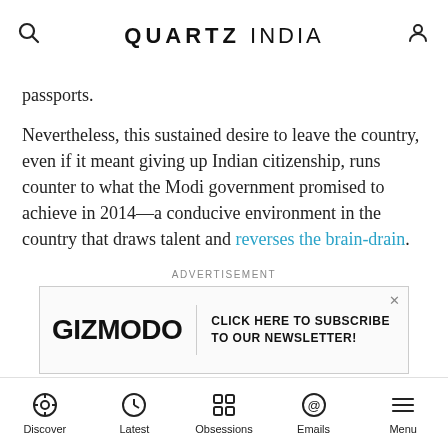QUARTZ INDIA
passports.
Nevertheless, this sustained desire to leave the country, even if it meant giving up Indian citizenship, runs counter to what the Modi government promised to achieve in 2014—a conducive environment in the country that draws talent and reverses the brain-drain.
ADVERTISEMENT
[Figure (other): Gizmodo advertisement banner: GIZMODO | CLICK HERE TO SUBSCRIBE TO OUR NEWSLETTER!]
In the US alone, the most number of H-1B visa applications—nearly two-thirds—continue to come from Indians.
Discover | Latest | Obsessions | Emails | Menu